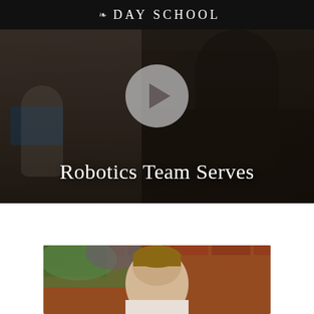DAY SCHOOL
[Figure (screenshot): Video thumbnail showing students working on robotics, with a play button overlay and the title 'Robotics Team Serves' overlaid in white serif text.]
Robotics Team Serves
[Figure (photo): Close-up photo of a student outdoors near a brick wall and flowering bushes.]